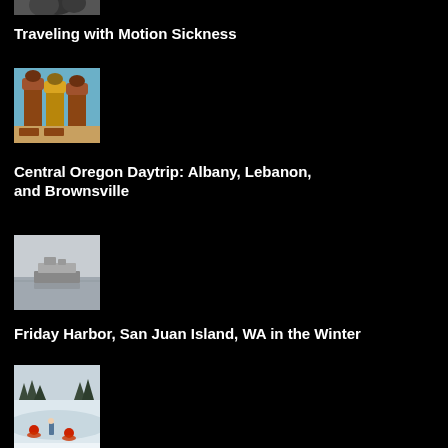[Figure (photo): Partial photo visible at top of page, appears to be a close-up image]
Traveling with Motion Sickness
[Figure (photo): Carousel or decorative figurines in a colorful display]
Central Oregon Daytrip: Albany, Lebanon, and Brownsville
[Figure (photo): A ferry boat on calm grey water in overcast conditions]
Friday Harbor, San Juan Island, WA in the Winter
[Figure (photo): People snow tubing in a winter scene with snow-covered trees]